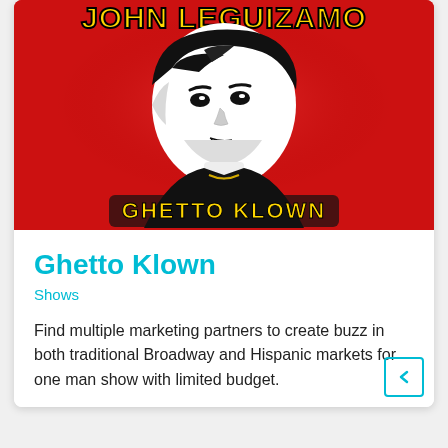[Figure (illustration): Ghetto Klown show poster with red background featuring a black and white illustration of John Leguizamo. Yellow text 'JOHN LEGUIZAMO' at top and 'GHETTO KLOWN' at bottom in stylized lettering.]
Ghetto Klown
Shows
Find multiple marketing partners to create buzz in both traditional Broadway and Hispanic markets for one man show with limited budget.